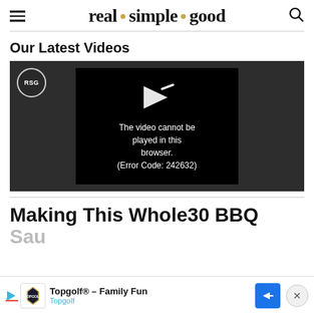real · simple · good
Our Latest Videos
[Figure (screenshot): Video player showing error message: 'The video cannot be played in this browser. (Error Code: 242632)' on dark background with RSG badge logo top left.]
Making This Whole30 BBQ Sau...
[Figure (infographic): Advertisement bar: Topgolf® – Family Fun, Topgolf, with play icon, logo, blue arrow ad button, and close (X) button.]